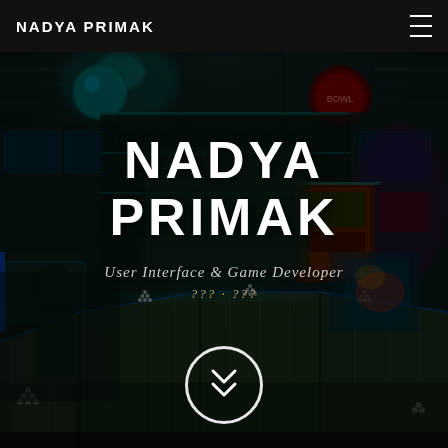NADYA PRIMAK
[Figure (screenshot): Dark-toned 3D rendered bowling alley / game arcade interior scene used as hero background image, with neon/teal lighting, bowling lanes, arcade machines, and pins visible.]
NADYA PRIMAK
User Interface & Game Developer
??? · ???